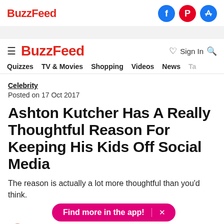BuzzFeed
BuzzFeed — Quizzes  TV & Movies  Shopping  Videos  News  Ta  Sign In
Celebrity
Posted on 17 Oct 2017
Ashton Kutcher Has A Really Thoughtful Reason For Keeping His Kids Off Social Media
The reason is actually a lot more thoughtful than you'd think.
Find more in the app!  ×
by Ellie Woodward